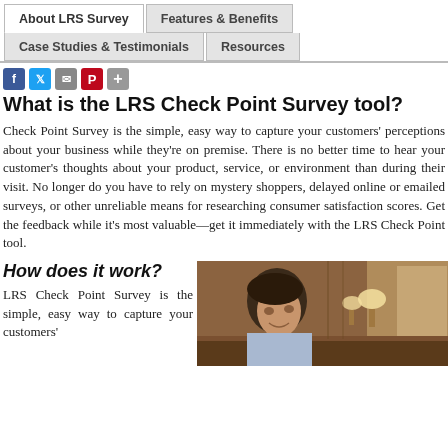About LRS Survey | Features & Benefits | Case Studies & Testimonials | Resources
[Figure (infographic): Social sharing icons: Facebook (blue), Twitter (light blue), Mail (gray), Pinterest (red), Plus (gray)]
What is the LRS Check Point Survey tool?
Check Point Survey is the simple, easy way to capture your customers' perceptions about your business while they're on premise. There is no better time to hear your customer's thoughts about your product, service, or environment than during their visit. No longer do you have to rely on mystery shoppers, delayed online or emailed surveys, or other unreliable means for researching consumer satisfaction scores. Get the feedback while it's most valuable—get it immediately with the LRS Check Point tool.
How does it work?
LRS Check Point Survey is the simple, easy way to capture your customers'
[Figure (photo): A smiling man at what appears to be a restaurant bar or lounge setting, with warm lighting and lamps in the background.]